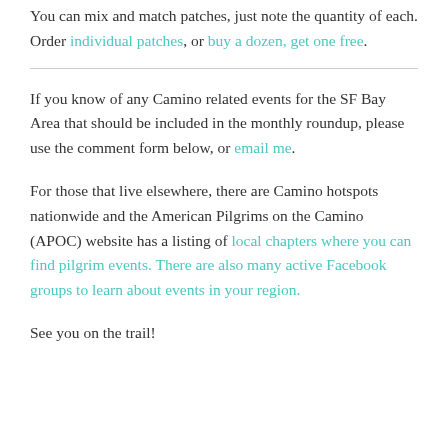You can mix and match patches, just note the quantity of each. Order individual patches, or buy a dozen, get one free.
If you know of any Camino related events for the SF Bay Area that should be included in the monthly roundup, please use the comment form below, or email me.
For those that live elsewhere, there are Camino hotspots nationwide and the American Pilgrims on the Camino (APOC) website has a listing of local chapters where you can find pilgrim events. There are also many active Facebook groups to learn about events in your region.
See you on the trail!